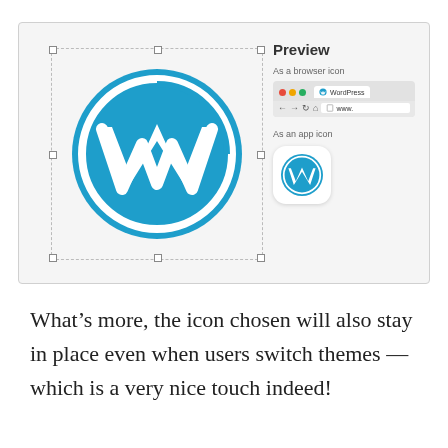[Figure (screenshot): WordPress site identity / favicon preview UI. Left side shows a large WordPress logo inside a dashed selection rectangle with resize handles. Right side shows: 'Preview' heading, 'As a browser icon' label with a browser mockup showing WordPress tab, and 'As an app icon' label with a rounded-square icon showing the WordPress logo.]
What's more, the icon chosen will also stay in place even when users switch themes — which is a very nice touch indeed!